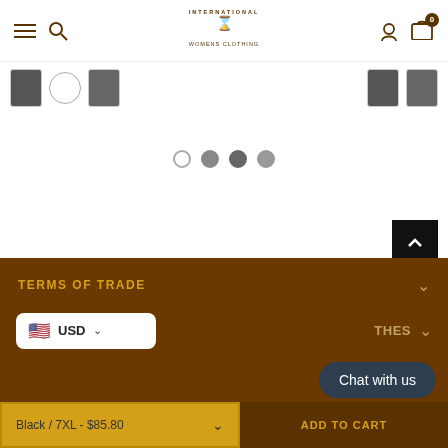[Figure (screenshot): E-commerce website header for International Womens Clothing with hamburger menu, search icon, logo, user icon, and cart icon showing 0 items]
[Figure (screenshot): Product thumbnail row showing small clothing item images and carousel dots navigation]
[Figure (screenshot): Back-to-top button (black square with upward chevron)]
TERMS OF TRADE
[Figure (screenshot): USD currency selector dropdown and CLOTHES section accordion row]
Chat with us
Black / 7XL - $85.80
ADD TO CART